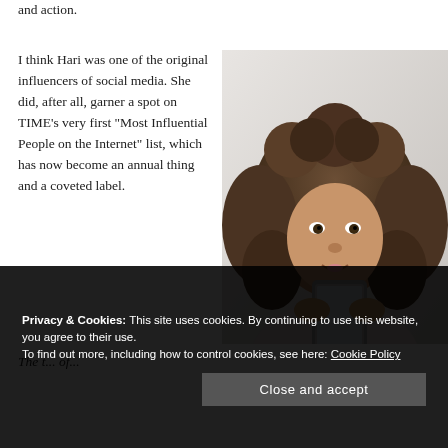and action.
I think Hari was one of the original influencers of social media. She did, after all, garner a spot on TIME’s very first “Most Influential People on the Internet” list, which has now become an annual thing and a coveted label.
[Figure (photo): Young woman with curly hair looking at a smartphone, wearing a light top, against a light grey background]
a lot of tweens, teens, and twenty-year-olds talking to friends
Privacy & Cookies: This site uses cookies. By continuing to use this website, you agree to their use.
To find out more, including how to control cookies, see here: Cookie Policy
Close and accept